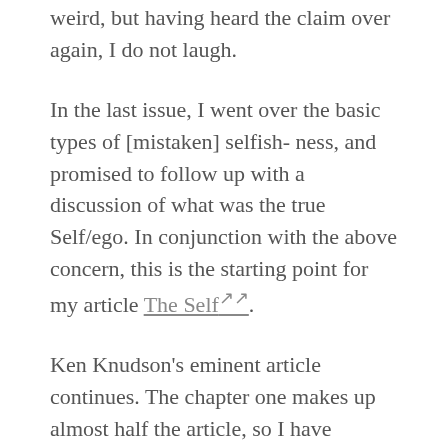weird, but having heard the claim over again, I do not laugh.
In the last issue, I went over the basic types of [mistaken] selfish- ness, and promised to follow up with a discussion of what was the true Self/ego. In conjunction with the above concern, this is the starting point for my article The Self↗↗.
Ken Knudson's eminent article continues. The chapter one makes up almost half the article, so I have chosen to issue the rest of the chapter as separate issues, so that discussion may begin. I hope the somewhat arbitrary sectioning of the article into the different issues is forgiven.